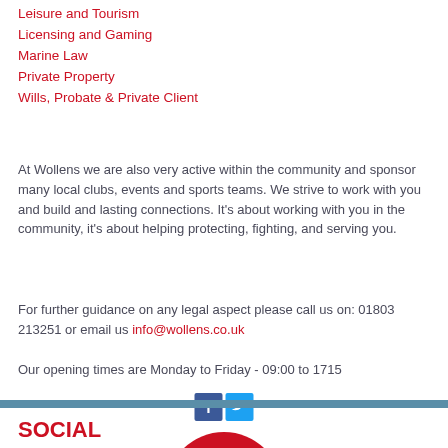Leisure and Tourism
Licensing and Gaming
Marine Law
Private Property
Wills, Probate & Private Client
At Wollens we are also very active within the community and sponsor many local clubs, events and sports teams. We strive to work with you and build and lasting connections. It's about working with you in the community, it's about helping protecting, fighting, and serving you.
For further guidance on any legal aspect please call us on: 01803 213251 or email us info@wollens.co.uk
Our opening times are Monday to Friday - 09:00 to 1715
[Figure (other): Facebook and Twitter social media icons]
[Figure (other): Red circular button with LATE DEALS text and chevron arrows]
SOCIAL